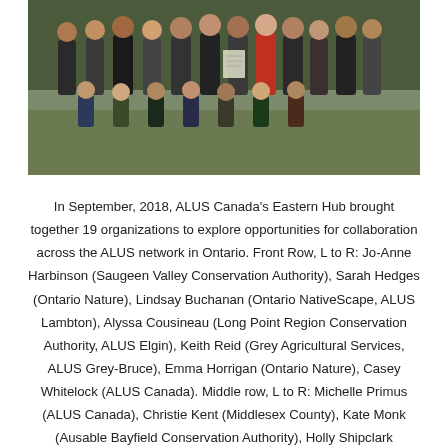[Figure (photo): Group photo of approximately 19 people posing outdoors on grass, likely at a conservation or agricultural site. People are arranged in multiple rows.]
In September, 2018, ALUS Canada's Eastern Hub brought together 19 organizations to explore opportunities for collaboration across the ALUS network in Ontario. Front Row, L to R: Jo-Anne Harbinson (Saugeen Valley Conservation Authority), Sarah Hedges (Ontario Nature), Lindsay Buchanan (Ontario NativeScape, ALUS Lambton), Alyssa Cousineau (Long Point Region Conservation Authority, ALUS Elgin), Keith Reid (Grey Agricultural Services, ALUS Grey-Bruce), Emma Horrigan (Ontario Nature), Casey Whitelock (ALUS Canada). Middle row, L to R: Michelle Primus (ALUS Canada), Christie Kent (Middlesex County), Kate Monk (Ausable Bayfield Conservation Authority), Holly Shipclark (Kawartha Conservation), John Stewart (ALUS Elgin PAC), Brendan Jacobs (Raisin Region Conservation Authority, ALUS Ontario East), Hillary Heard (ALUS Middlesex), Rachel Scholten (Ducks Unlimited Canada), Steve Bradish (ALUS Middlesex PAC),